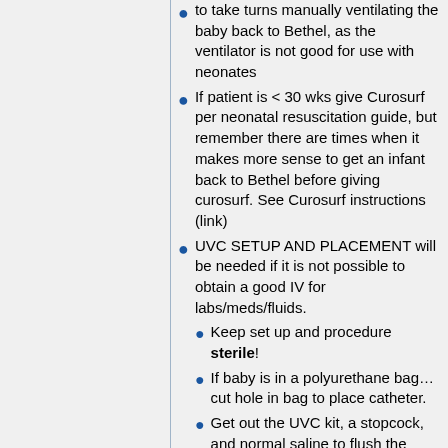to take turns manually ventilating the baby back to Bethel, as the ventilator is not good for use with neonates
If patient is < 30 wks give Curosurf per neonatal resuscitation guide, but remember there are times when it makes more sense to get an infant back to Bethel before giving curosurf. See Curosurf instructions (link)
UVC SETUP AND PLACEMENT will be needed if it is not possible to obtain a good IV for labs/meds/fluids.
Keep set up and procedure sterile!
If baby is in a polyurethane bag… cut hole in bag to place catheter.
Get out the UVC kit, a stopcock, and normal saline to flush the catheter and stopcock.
Sterilely prep and drape the